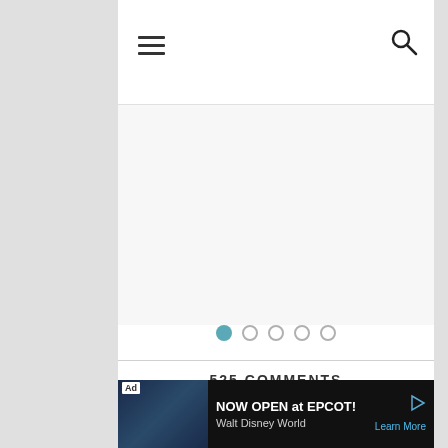[Figure (screenshot): Hamburger menu icon (three horizontal lines) in top-left of navigation bar]
[Figure (screenshot): Search icon (magnifying glass) in top-right of navigation bar]
[Figure (screenshot): Slider/carousel area with 5 pagination dots, first dot filled teal/blue, rest outlined]
525 COMMENTS
NICOLE PRINS
REPLY
March 25, 2014 at 9:32 pm
[Figure (screenshot): Ad banner: NOW OPEN at EPCOT! Walt Disney World. Learn More.]